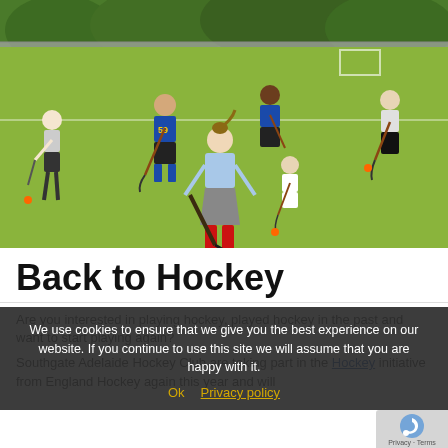[Figure (photo): Outdoor field hockey session on an astroturf pitch. Multiple players of mixed ages and genders practising with hockey sticks and orange balls. A woman in a light blue top, grey skirt and red socks is prominent in the foreground, bending to play a ball. Players wearing blue/yellow numbered jerseys are in the background. Trees and a fence are visible behind.]
Back to Hockey
Are you interested in playing hockey, played hockey in the past and want to start playing again?
Southgate Adelaide Hockey Club are taking part in the Hockey initiative from England Hockey again this year and will
We use cookies to ensure that we give you the best experience on our website. If you continue to use this site we will assume that you are happy with it.